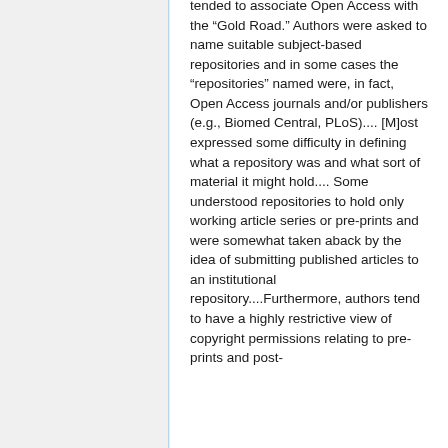tended to associate Open Access with the “Gold Road.” Authors were asked to name suitable subject-based repositories and in some cases the “repositories” named were, in fact, Open Access journals and/or publishers (e.g., Biomed Central, PLoS).... [M]ost expressed some difficulty in defining what a repository was and what sort of material it might hold.... Some understood repositories to hold only working article series or pre-prints and were somewhat taken aback by the idea of submitting published articles to an institutional repository....Furthermore, authors tend to have a highly restrictive view of copyright permissions relating to pre-prints and post-